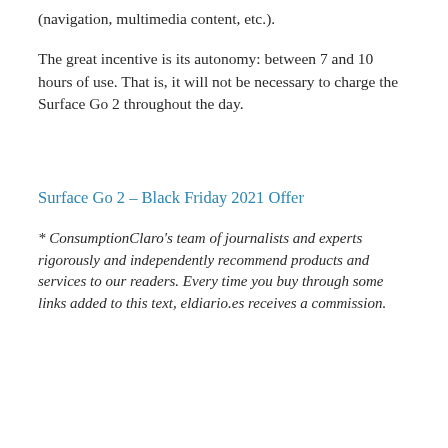(navigation, multimedia content, etc.).
The great incentive is its autonomy: between 7 and 10 hours of use. That is, it will not be necessary to charge the Surface Go 2 throughout the day.
Surface Go 2 – Black Friday 2021 Offer
* ConsumptionClaro's team of journalists and experts rigorously and independently recommend products and services to our readers. Every time you buy through some links added to this text, eldiario.es receives a commission.